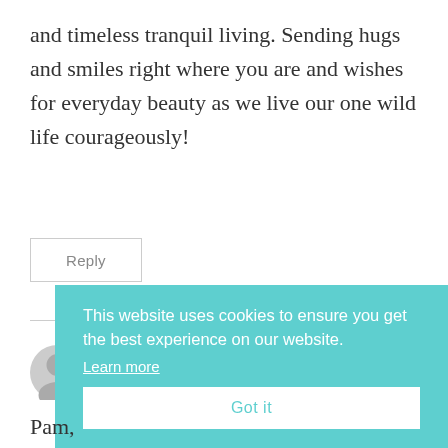and timeless tranquil living. Sending hugs and smiles right where you are and wishes for everyday beauty as we live our one wild life courageously!
Reply
[Figure (illustration): Partial circular avatar/profile icon in light gray at lower left]
This website uses cookies to ensure you get the best experience on our website. Learn more
Got it
Pam,